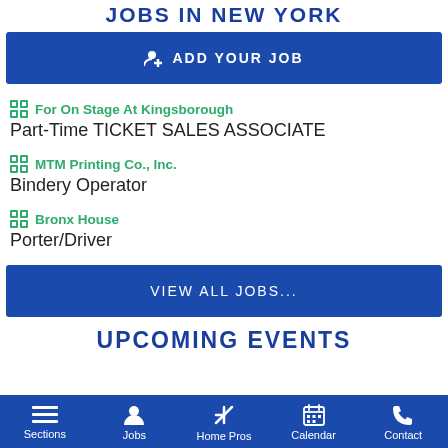JOBS IN NEW YORK
ADD YOUR JOB
For On Stage At Kingsborough — Part-Time TICKET SALES ASSOCIATE
MTM Printing Co., Inc. — Bindery Operator
Bronx House — Porter/Driver
VIEW ALL JOBS...
UPCOMING EVENTS
Sections | Jobs | Home Pros | Calendar | Contact